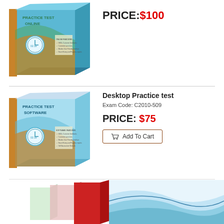[Figure (illustration): Practice Test Online software box product image]
PRICE:$100
[Figure (illustration): Practice Test Software desktop box product image]
Desktop Practice test
Exam Code: C2010-509
PRICE: $75
Add To Cart
[Figure (illustration): Bundle product image showing multiple software boxes with blue wave design]